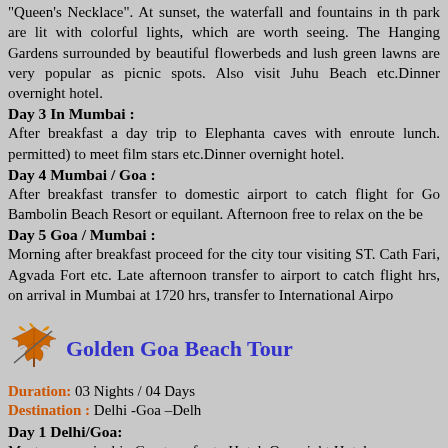"Queen's Necklace". At sunset, the waterfall and fountains in the park are lit with colorful lights, which are worth seeing. The Hanging Gardens surrounded by beautiful flowerbeds and lush green lawns are very popular as picnic spots. Also visit Juhu Beach etc.Dinner overnight hotel.
Day 3 In Mumbai :
After breakfast a day trip to Elephanta caves with enroute lunch. permitted) to meet film stars etc.Dinner overnight hotel.
Day 4 Mumbai / Goa :
After breakfast transfer to domestic airport to catch flight for Goa. Bambolin Beach Resort or equilant. Afternoon free to relax on the beach.
Day 5 Goa / Mumbai :
Morning after breakfast proceed for the city tour visiting ST. Cathedral, Fari, Agvada Fort etc. Late afternoon transfer to airport to catch flight. hrs, on arrival in Mumbai at 1720 hrs, transfer to International Airport.
[Figure (illustration): Autumn leaf / maple leaf icon in orange and yellow colors]
Golden Goa Beach Tour
Duration: 03 Nights / 04 Days
Destination : Delhi -Goa –Delh
Day 1 Delhi/Goa:
Meet upon arrival in Goa transfer to Hotel. Overnight Hotel.
Day 2 In Goa :